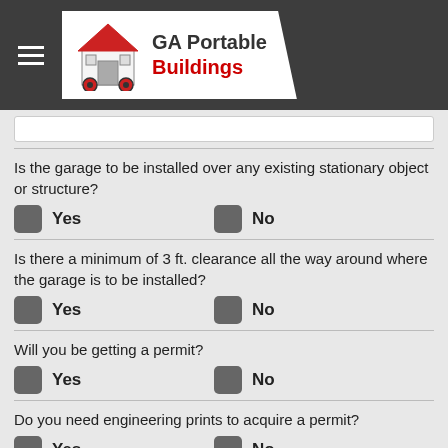GA Portable Buildings
Is the garage to be installed over any existing stationary object or structure?
Yes  No
Is there a minimum of 3 ft. clearance all the way around where the garage is to be installed?
Yes  No
Will you be getting a permit?
Yes  No
Do you need engineering prints to acquire a permit?
Yes  No
If yes, what type of prints are required to acquire a permit?